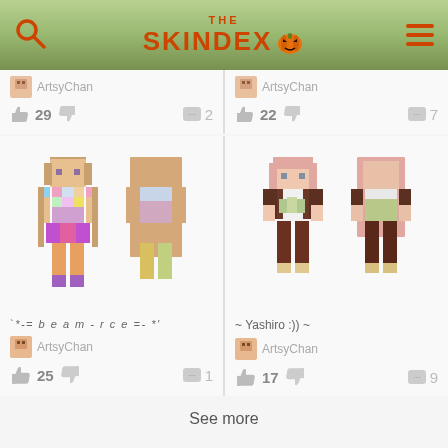THE SKINDEX
[Figure (screenshot): Minecraft skin thumbnails for ArtsyChan with 29 likes and 2 comments (top-left)]
[Figure (screenshot): Minecraft skin thumbnails for ArtsyChan with 22 likes and 7 comments (top-right)]
[Figure (screenshot): Minecraft skin card: `*-= b e a m - r c e =- *' by ArtsyChan, 25 likes, 1 comment]
[Figure (screenshot): Minecraft skin card: ~ Yashiro :)) ~ by ArtsyChan, 17 likes, 9 comments]
See more